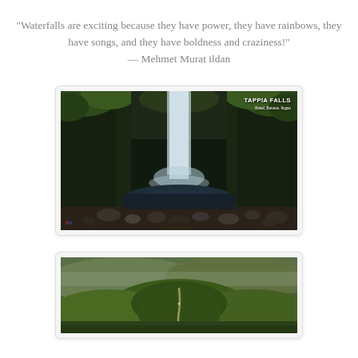“Waterfalls are exciting because they have power, they have rainbows, they have songs, and they have boldness and craziness!"
— Mehmet Murat ildan
[Figure (photo): Photo of Tappia Falls, a tall narrow waterfall surrounded by dark mossy rock walls and lush green vegetation, with a rocky pool at the base. Text overlay reads 'Tappia Falls, Batad, Banaue, Ifugao'. Logo watermark in bottom left corner.]
[Figure (photo): Aerial photo of green rolling hills and mountains with a winding path or road visible. Lush green landscape with fog or clouds in background.]